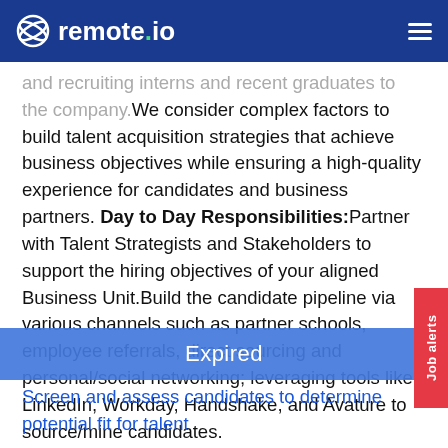remote.io
and recruiting interns and recent graduates to the company. We consider complex factors to build talent acquisition strategies that achieve business objectives while ensuring a high-quality experience for candidates and business partners. Day to Day Responsibilities: Partner with Talent Strategists and Stakeholders to support the hiring objectives of your aligned Business Unit. Build the candidate pipeline via various channels such as partner schools, employee referrals, direct sourcing and personal/social networking; leveraging tools like LinkedIn, Workday, Handshake, and Avature to source/mine candidates. Screen and assess candidates to determine potential fit for talent profile. Promote effective methods to identify...
Expired